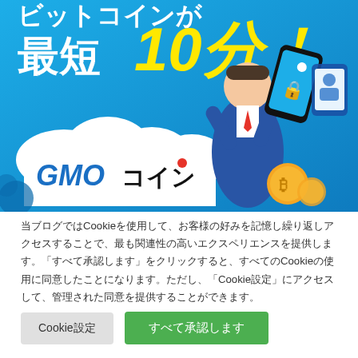[Figure (illustration): GMO Coin advertisement banner with blue background showing Japanese text '最短10分!' (as short as 10 minutes) with GMO Coin logo, cartoon businessman, smartphone, and bitcoin coins]
当ブログではCookieを使用して、お客様の好みを記憶し繰り返しアクセスすることで、最も関連性の高いエクスペリエンスを提供します。「すべて承認します」をクリックすると、すべてのCookieの使用に同意したことになります。ただし、「Cookie設定」にアクセスして、管理された同意を提供することができます。
Cookie設定
すべて承認します